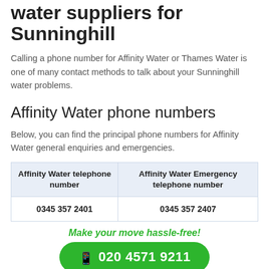water suppliers for Sunninghill
Calling a phone number for Affinity Water or Thames Water is one of many contact methods to talk about your Sunninghill water problems.
Affinity Water phone numbers
Below, you can find the principal phone numbers for Affinity Water general enquiries and emergencies.
| Affinity Water telephone number | Affinity Water Emergency telephone number |
| --- | --- |
| 0345 357 2401 | 0345 357 2407 |
Make your move hassle-free!
020 4571 9211